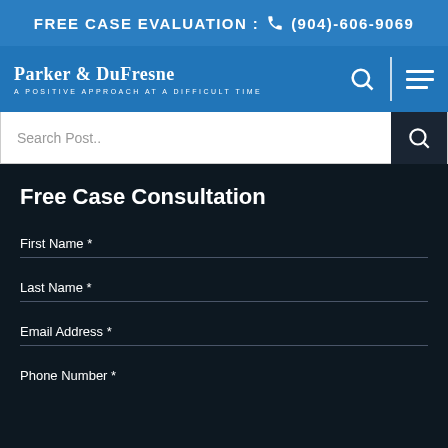FREE CASE EVALUATION : (904)-606-9069
[Figure (logo): Parker & DuFresne law firm logo with tagline 'A Positive Approach at a Difficult Time' on blue navigation bar with search and menu icons]
Search Post..
Free Case Consultation
First Name *
Last Name *
Email Address *
Phone Number *